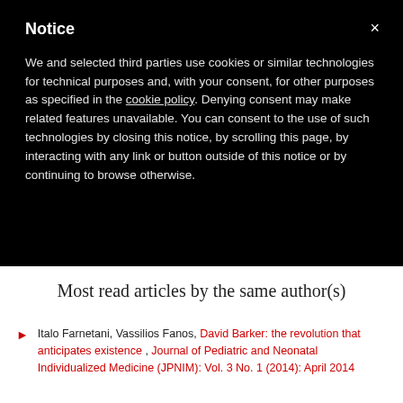Notice
We and selected third parties use cookies or similar technologies for technical purposes and, with your consent, for other purposes as specified in the cookie policy. Denying consent may make related features unavailable. You can consent to the use of such technologies by closing this notice, by scrolling this page, by interacting with any link or button outside of this notice or by continuing to browse otherwise.
Most read articles by the same author(s)
Italo Farnetani, Vassilios Fanos, David Barker: the revolution that anticipates existence , Journal of Pediatric and Neonatal Individualized Medicine (JPNIM): Vol. 3 No. 1 (2014): April 2014